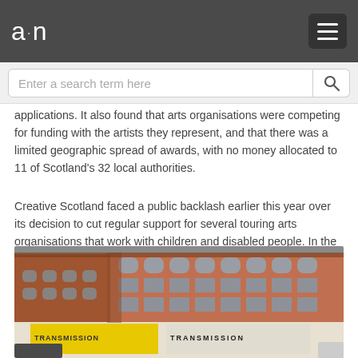a·n
Enter a search term here
applications. It also found that arts organisations were competing for funding with the artists they represent, and that there was a limited geographic spread of awards, with no money allocated to 11 of Scotland's 32 local authorities.
Creative Scotland faced a public backlash earlier this year over its decision to cut regular support for several touring arts organisations that work with children and disabled people. In the same funding round, it also withdrew its regular funding from the artist-run Transmission Gallery.
[Figure (photo): Exterior photograph of the Transmission Gallery building, a red sandstone Victorian building on a corner, with large yellow signage reading TRANSMISSION on the shopfront.]